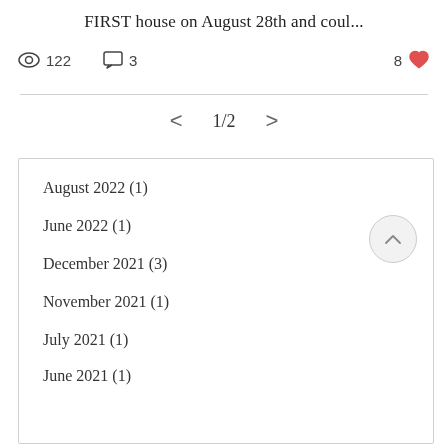FIRST house on August 28th and coul...
👁 122   💬 3   8 ♥
< 1/2 >
August 2022 (1)
June 2022 (1)
December 2021 (3)
November 2021 (1)
July 2021 (1)
June 2021 (1)